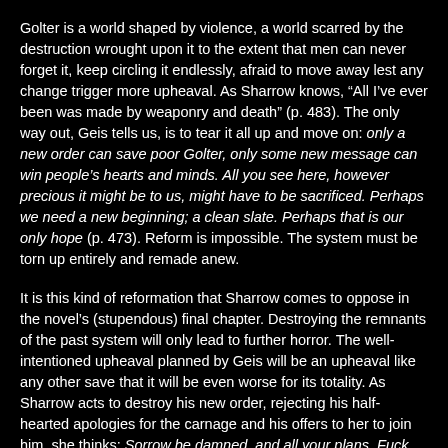Golter is a world shaped by violence, a world scarred by the destruction wrought upon it to the extent that men can never forget it, keep circling it endlessly, afraid to move away lest any change trigger more upheaval. As Sharrow knows, “All I’ve ever been was made by weaponry and death” (p. 483). The only way out, Geis tells us, is to tear it all up and move on: only a new order can save poor Golter, only some new message can win people’s hearts and minds. All you see here, however precious it might be to us, might have to be sacrificed. Perhaps we need a new beginning; a clean slate. Perhaps that is our only hope (p. 473). Reform is impossible. The system must be torn up entirely and remade anew.
It is this kind of reformation that Sharrow comes to oppose in the novel’s (stupendous) final chapter. Destroying the remnants of the past system will only lead to further horror. The well-intentioned upheaval planned by Geis will be an upheaval like any other save that it will be even worse for its totality. As Sharrow acts to destroy his new order, rejecting his half-hearted apologies for the carnage and his offers to her to join him, she thinks: Sorrow be damned, and all your plans. Fuck the faithful, fuck the committed, the dedicated, the true believers; fuck all the poor, deserving, and undeserving victims and killers...